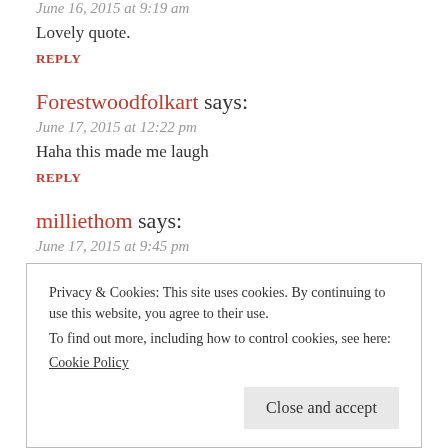June 16, 2015 at 9:19 am
Lovely quote.
REPLY
Forestwoodfolkart says:
June 17, 2015 at 12:22 pm
Haha this made me laugh
REPLY
milliethom says:
June 17, 2015 at 9:45 pm
Thank you, Amanda. I love this quote! I've seen the unedited
Privacy & Cookies: This site uses cookies. By continuing to use this website, you agree to their use.
To find out more, including how to control cookies, see here:
Cookie Policy
Close and accept